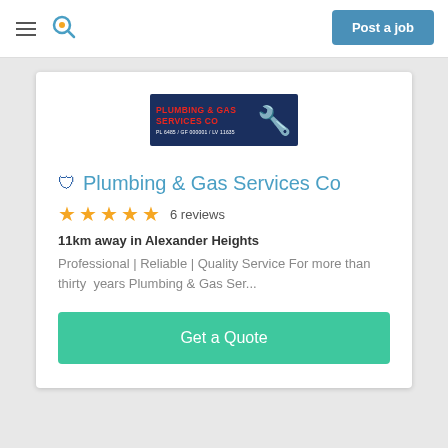≡  🔍   Post a job
[Figure (logo): Plumbing & Gas Services Co logo — dark blue background with red and white text and a plumber illustration]
Plumbing & Gas Services Co
6 reviews
11km away in Alexander Heights
Professional | Reliable | Quality Service For more than thirty  years Plumbing & Gas Ser...
Get a Quote